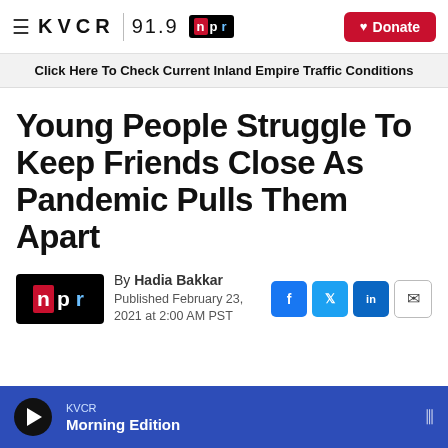KVCR 91.9 npr | Donate
Click Here To Check Current Inland Empire Traffic Conditions
Young People Struggle To Keep Friends Close As Pandemic Pulls Them Apart
By Hadia Bakkar
Published February 23, 2021 at 2:00 AM PST
KVCR Morning Edition